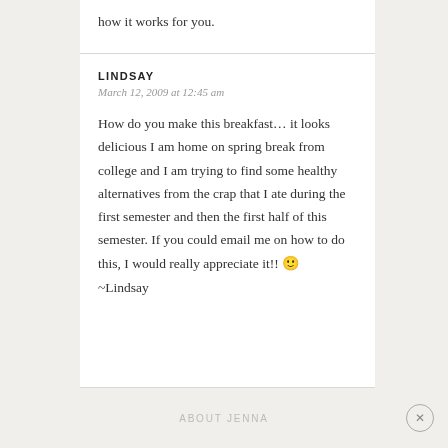how it works for you.
LINDSAY
March 12, 2009 at 12:45 am
How do you make this breakfast… it looks delicious I am home on spring break from college and I am trying to find some healthy alternatives from the crap that I ate during the first semester and then the first half of this semester. If you could email me on how to do this, I would really appreciate it!! 🙂
~Lindsay
ABOUT JENNA